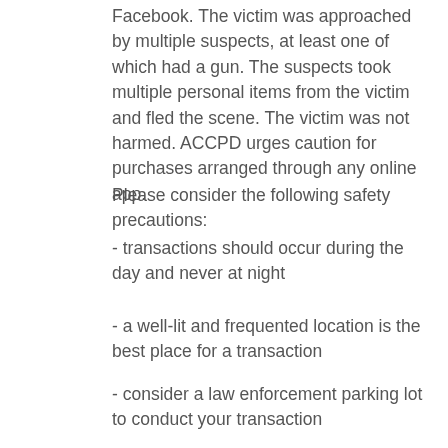Facebook. The victim was approached by multiple suspects, at least one of which had a gun. The suspects took multiple personal items from the victim and fled the scene. The victim was not harmed. ACCPD urges caution for purchases arranged through any online app.
Please consider the following safety precautions:
- transactions should occur during the day and never at night
- a well-lit and frequented location is the best place for a transaction
- consider a law enforcement parking lot to conduct your transaction
- do not meet at a private residence
- beware if the buyer or seller changes the location, once it is established